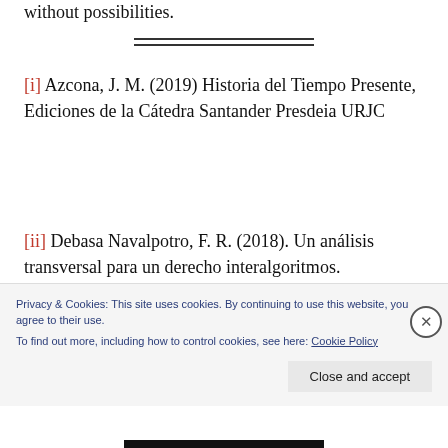without possibilities.
[i] Azcona, J. M. (2019) Historia del Tiempo Presente, Ediciones de la Cátedra Santander Presdeia URJC
[ii] Debasa Navalpotro, F. R. (2018). Un análisis transversal para un derecho interalgoritmos. Nuevos retos sociales en la IV Revolución
Privacy & Cookies: This site uses cookies. By continuing to use this website, you agree to their use. To find out more, including how to control cookies, see here: Cookie Policy